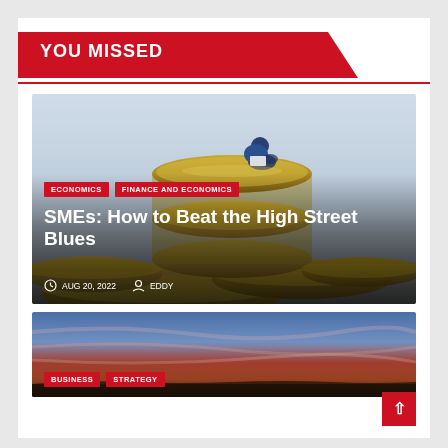YOU MISSED
[Figure (photo): A miniature figurine of a person sitting and reading on top of a pile of gold/euro coins, with a light grey-blue gradient background. Tags overlay: ECONOMICS, FINANCE AND ECONOMICS. Title overlay: SMEs: How to Beat the High Street Blues. Meta: AUG 20, 2022, EDDY.]
SMEs: How to Beat the High Street Blues
AUG 20, 2022   EDDY
[Figure (photo): A dramatic sunset sky with streaks of orange, red, and purple clouds over a dark landscape silhouette. Tags overlay: BUSINESS, STRATEGY.]